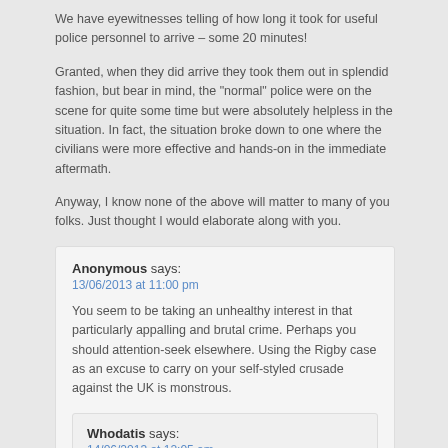We have eyewitnesses telling of how long it took for useful police personnel to arrive – some 20 minutes!
Granted, when they did arrive they took them out in splendid fashion, but bear in mind, the "normal" police were on the scene for quite some time but were absolutely helpless in the situation. In fact, the situation broke down to one where the civilians were more effective and hands-on in the immediate aftermath.
Anyway, I know none of the above will matter to many of you folks. Just thought I would elaborate along with you.
Anonymous says:
13/06/2013 at 11:00 pm

You seem to be taking an unhealthy interest in that particularly appalling and brutal crime. Perhaps you should attention-seek elsewhere. Using the Rigby case as an excuse to carry on your self-styled crusade against the UK is monstrous.
Whodatis says:
14/06/2013 at 12:05 am